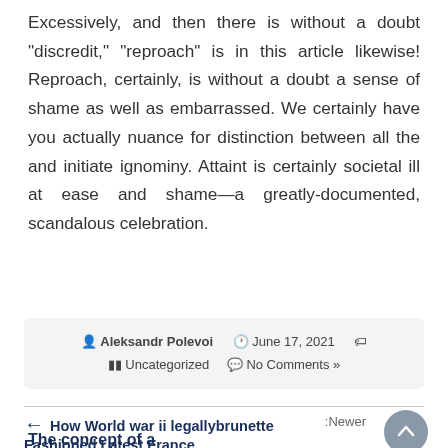Excessively, and then there is without a doubt “discredit,” “reproach” is in this article likewise! Reproach, certainly, is without a doubt a sense of shame as well as embarrassed. We certainly have you actually nuance for distinction between all the and initiate ignominy. Attaint is certainly societal ill at ease and shame—a greatly-documented, scandalous celebration.
Aleksandr Polevoi   June 17, 2021     Uncategorized   No Comments »
How World war ii legallybrunette Fashioned Latest France
The concept of a